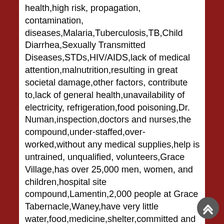health,high risk, propagation, contamination, diseases,Malaria,Tuberculosis,TB,Child Diarrhea,Sexually Transmitted Diseases,STDs,HIV/AIDS,lack of medical attention,malnutrition,resulting in great societal damage,other factors, contribute to,lack of general health,unavailability of electricity, refrigeration,food poisoning,Dr. Numan,inspection,doctors and nurses,the compound,under-staffed,over-worked,without any medical supplies,help is untrained, unqualified, volunteers,Grace Village,has over 25,000 men, women, and children,hospital site compound,Lamentin,2,000 people at Grace Tabernacle,Waney,have very little water,food,medicine,shelter,committed and prepared,work with the Aaron & Margaret Wallace Foundation,Stepping Together,raise funds,organize continued relief efforts,to deliver,much needed,medical support, supplies, food,clothing,educational materials,construction support,building materials,personal items,legal assistance for displaced children, orphanages, given transportation,temporary housing,United States,other families, churches,organizations until homes have been